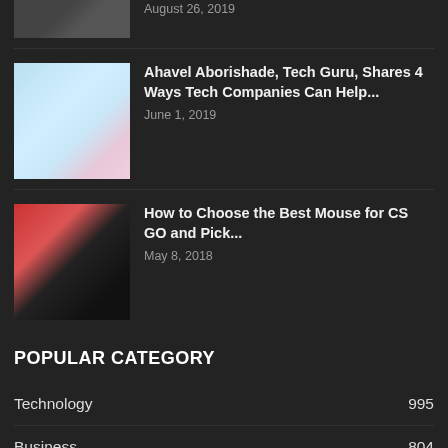August 26, 2019
Ahavel Aborishade, Tech Guru, Shares 4 Ways Tech Companies Can Help...
June 1, 2019
How to Choose the Best Mouse for CS GO and Pick...
May 8, 2018
POPULAR CATEGORY
Technology 995
Business 804
Internet 211
Marketing 199
Software 177